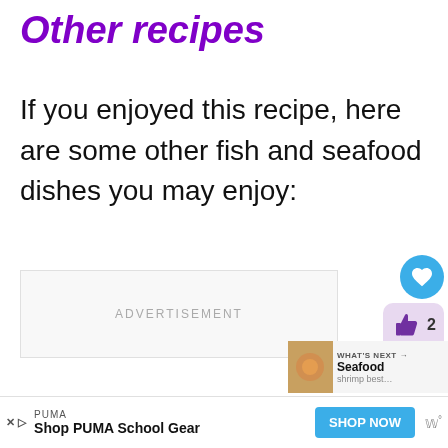Other recipes
If you enjoyed this recipe, here are some other fish and seafood dishes you may enjoy:
[Figure (other): Advertisement placeholder area with text 'ADVERTISEMENT']
[Figure (other): Social interaction buttons: heart (like) button in blue circle, thumbs up with count '2' and share button in purple/lavender rounded box]
[Figure (other): What's Next promotional widget showing 'WHAT'S NEXT → Seafood' with a food image]
[Figure (other): Bottom advertisement banner: PUMA brand ad 'Shop PUMA School Gear' with blue SHOP NOW button and weather icon]